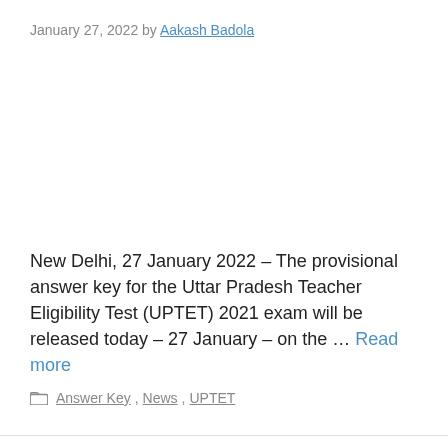January 27, 2022 by Aakash Badola
New Delhi, 27 January 2022 – The provisional answer key for the Uttar Pradesh Teacher Eligibility Test (UPTET) 2021 exam will be released today – 27 January – on the … Read more
Answer Key, News, UPTET
UGC NET Answer Key 2021: Today is the Last Day